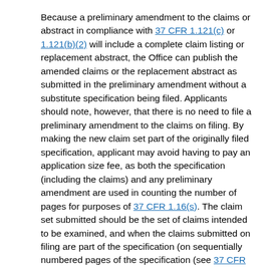Because a preliminary amendment to the claims or abstract in compliance with 37 CFR 1.121(c) or 1.121(b)(2) will include a complete claim listing or replacement abstract, the Office can publish the amended claims or the replacement abstract as submitted in the preliminary amendment without a substitute specification being filed. Applicants should note, however, that there is no need to file a preliminary amendment to the claims on filing. By making the new claim set part of the originally filed specification, applicant may avoid having to pay an application size fee, as both the specification (including the claims) and any preliminary amendment are used in counting the number of pages for purposes of 37 CFR 1.16(s). The claim set submitted should be the set of claims intended to be examined, and when the claims submitted on filing are part of the specification (on sequentially numbered pages of the specification (see 37 CFR 1.52(b)(5) )), no status identifiers and no markings showing the changes need to be used.